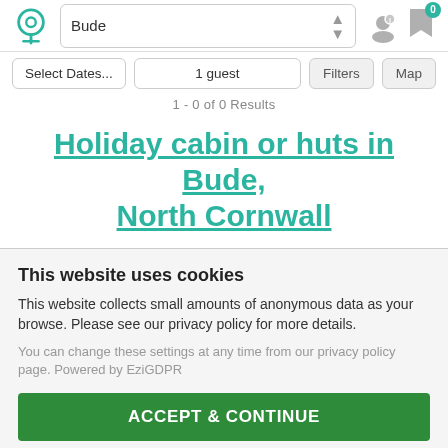[Figure (screenshot): Website UI screenshot showing a holiday rental search page for Bude with navbar, filters, listing title, and a cookie consent banner.]
Bude
Select Dates...
1 guest
Filters
Map
1 - 0 of 0 Results
Holiday cabin or huts in Bude, North Cornwall
This website uses cookies
This website collects small amounts of anonymous data as your browse. Please see our privacy policy for more details.
You can change these settings at any time from our privacy policy page. Powered by EziGDPR
ACCEPT & CONTINUE
Edit my preferences